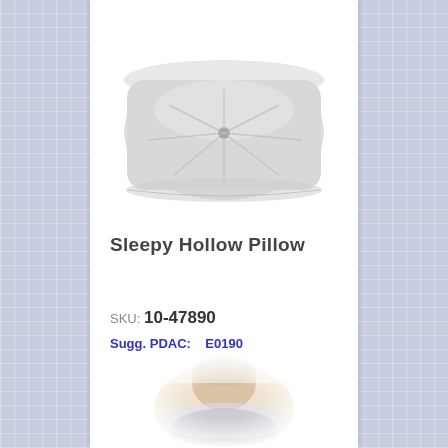[Figure (photo): A white/light gray tufted pillow with a center button, photographed on white background]
Sleepy Hollow Pillow
SKU: 10-47890
Sugg. PDAC:    E0190
[Figure (photo): A person resting their head on a pillow, partially visible at bottom of page, blurred/soft focus]